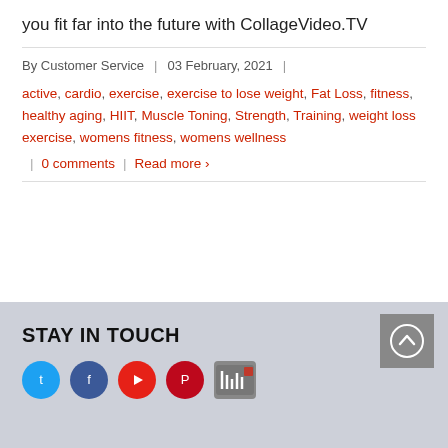you fit far into the future with CollageVideo.TV
By Customer Service | 03 February, 2021
active, cardio, exercise, exercise to lose weight, Fat Loss, fitness, healthy aging, HIIT, Muscle Toning, Strength, Training, weight loss exercise, womens fitness, womens wellness
| 0 comments | Read more ›
STAY IN TOUCH